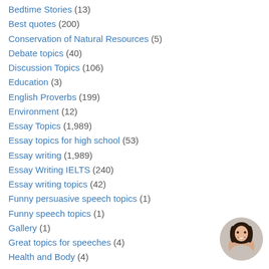Bedtime Stories (13)
Best quotes (200)
Conservation of Natural Resources (5)
Debate topics (40)
Discussion Topics (106)
Education (3)
English Proverbs (199)
Environment (12)
Essay Topics (1,989)
Essay topics for high school (53)
Essay writing (1,989)
Essay Writing IELTS (240)
Essay writing topics (42)
Funny persuasive speech topics (1)
Funny speech topics (1)
Gallery (1)
Great topics for speeches (4)
Health and Body (4)
[Figure (photo): Circular avatar photo of a smiling young woman with dark hair]